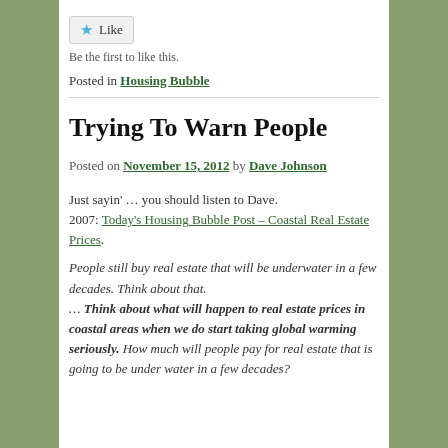[Figure (other): Like button with star icon]
Be the first to like this.
Posted in Housing Bubble
Trying To Warn People
Posted on November 15, 2012 by Dave Johnson
Just sayin' … you should listen to Dave.
2007: Today's Housing Bubble Post – Coastal Real Estate Prices.
People still buy real estate that will be underwater in a few decades. Think about that.
… Think about what will happen to real estate prices in coastal areas when we do start taking global warming seriously. How much will people pay for real estate that is going to be under water in a few decades?